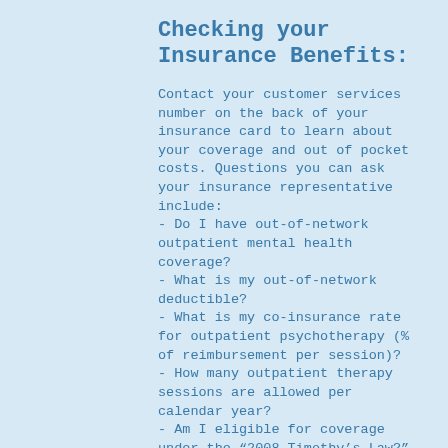Checking your Insurance Benefits:
Contact your customer services number on the back of your insurance card to learn about your coverage and out of pocket costs. Questions you can ask your insurance representative include:
- Do I have out-of-network outpatient mental health coverage?
- What is my out-of-network deductible?
- What is my co-insurance rate for outpatient psychotherapy (% of reimbursement per session)?
- How many outpatient therapy sessions are allowed per calendar year?
- Am I eligible for coverage under the “2008 Timothy’s Law?” (This allows some members access to unlimited therapy sessions if they meet criteria for a biological based diagnosis)
- Do you require prior authorization for out-of-network outpatient therapy